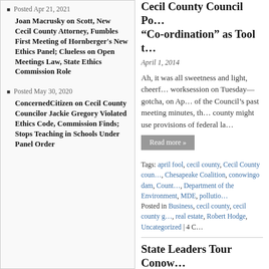Posted Apr 21, 2021
Joan Macrusky on Scott, New Cecil County Attorney, Fumbles First Meeting of Hornberger's New Ethics Panel; Clueless on Open Meetings Law, State Ethics Commission Role
Posted May 30, 2020
ConcernedCitizen on Cecil County Councilor Jackie Gregory Violated Ethics Code, Commission Finds; Stops Teaching in Schools Under Panel Order
Cecil County Council Po… “Co-ordination” as Tool t…
April 1, 2014
Ah, it was all sweetness and light, cheerf… worksession on Tuesday—gotcha, on Ap… of the Council’s past meeting minutes, th… county might use provisions of federal la…
Read more »
Tags: april fool, cecil county, Cecil County coun…, Chesapeake Coalition, conowingo dam, Count…, Department of the Environment, MDE, pollutio…
Posted in Business, cecil county, cecil county g…, real estate, Robert Hodge, Uncategorized | 4 C…
State Leaders Tour Conow… Pollution but Cecil Count…
May 31, 2013
State Sen. Nancy Jacobs (R-Harford/Cec… Conowingo Dam Thursday and exclaime… up…did they know we were coming?” B… the surface of the Susquehanna River: to…
Read more »